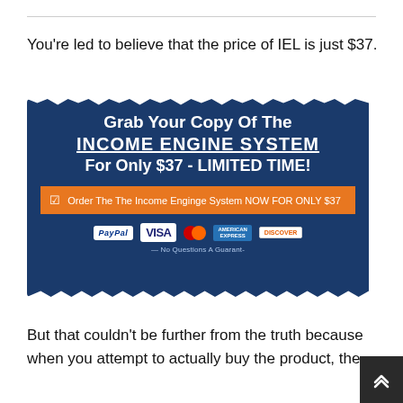You're led to believe that the price of IEL is just $37.
[Figure (screenshot): Advertisement banner with dark blue torn-paper background showing 'Grab Your Copy Of The INCOME ENGINE SYSTEM For Only $37 - LIMITED TIME!' with orange call-to-action button and payment method logos (PayPal, Visa, MasterCard, American Express, Discover).]
But that couldn't be further from the truth because when you attempt to actually buy the product, the